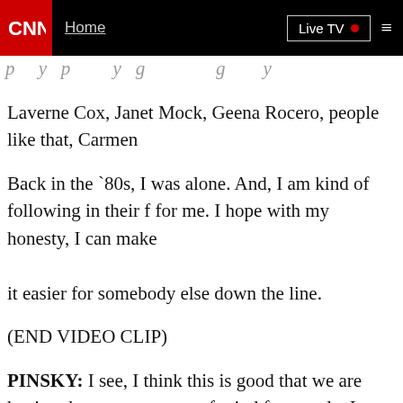CNN | Home | Live TV
p y p   y g   g y
Laverne Cox, Janet Mock, Geena Rocero, people like that, Carmen
Back in the `80s, I was alone. And, I am kind of following in their f for me. I hope with my honesty, I can make it easier for somebody else down the line.
(END VIDEO CLIP)
PINSKY: I see, I think this is good that we are having these convers top of mind for people. I am back with
Sam, Erica and Mike. Some though might argue it is problematic fo